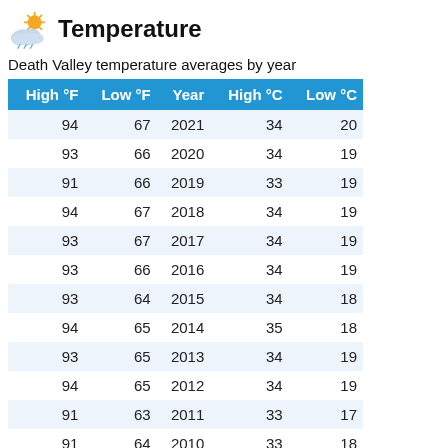Temperature
Death Valley temperature averages by year
| High °F | Low °F | Year | High °C | Low °C |
| --- | --- | --- | --- | --- |
| 94 | 67 | 2021 | 34 | 20 |
| 93 | 66 | 2020 | 34 | 19 |
| 91 | 66 | 2019 | 33 | 19 |
| 94 | 67 | 2018 | 34 | 19 |
| 93 | 67 | 2017 | 34 | 19 |
| 93 | 66 | 2016 | 34 | 19 |
| 93 | 64 | 2015 | 34 | 18 |
| 94 | 65 | 2014 | 35 | 18 |
| 93 | 65 | 2013 | 34 | 19 |
| 94 | 65 | 2012 | 34 | 19 |
| 91 | 63 | 2011 | 33 | 17 |
| 91 | 64 | 2010 | 33 | 18 |